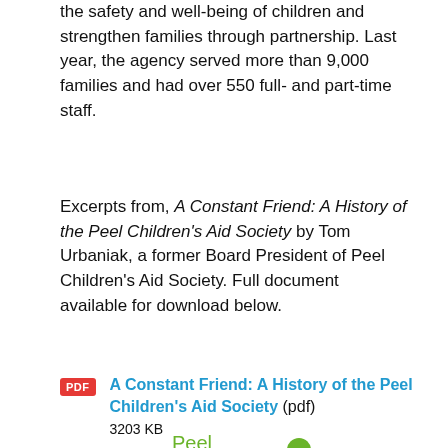the safety and well-being of children and strengthen families through partnership. Last year, the agency served more than 9,000 families and had over 550 full- and part-time staff.
Excerpts from, A Constant Friend: A History of the Peel Children’s Aid Society by Tom Urbaniak, a former Board President of Peel Children's Aid Society. Full document available for download below.
[Figure (logo): PDF badge icon and link: A Constant Friend: A History of the Peel Children's Aid Society (pdf), 3203 KB]
[Figure (logo): Peel CAS logo with stylized figure and green/orange/yellow design elements]